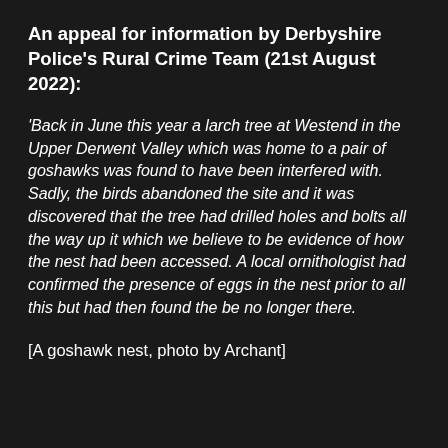An appeal for information by Derbyshire Police's Rural Crime Team (21st August 2022):
'Back in June this year a larch tree at Westend in the Upper Derwent Valley which was home to a pair of goshawks was found to have been interfered with. Sadly, the birds abandoned the site and it was discovered that the tree had drilled holes and bolts all the way up it which we believe to be evidence of how the nest had been accessed. A local ornithologist had confirmed the presence of eggs in the nest prior to all this but had then found the be no longer there.
[A goshawk nest, photo by Archant]